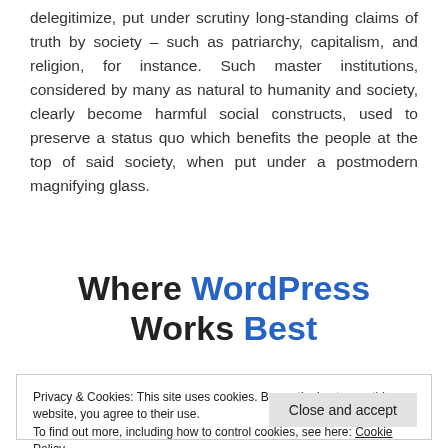delegitimize, put under scrutiny long-standing claims of truth by society – such as patriarchy, capitalism, and religion, for instance. Such master institutions, considered by many as natural to humanity and society, clearly become harmful social constructs, used to preserve a status quo which benefits the people at the top of said society, when put under a postmodern magnifying glass.
Where WordPress Works Best
Privacy & Cookies: This site uses cookies. By continuing to use this website, you agree to their use.
To find out more, including how to control cookies, see here: Cookie Policy
Close and accept